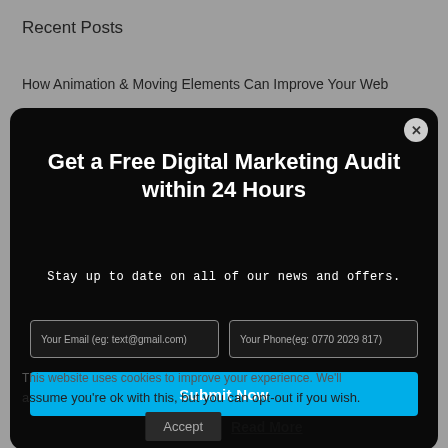Recent Posts
How Animation & Moving Elements Can Improve Your Web
Get a Free Digital Marketing Audit within 24 Hours
Stay up to date on all of our news and offers.
Your Email (eg: text@gmail.com)
Your Phone(eg: 0770 2029 817)
Submit Now
This website uses cookies to improve your experience. We'll assume you're ok with this, but you can opt-out if you wish.
Accept
Read More